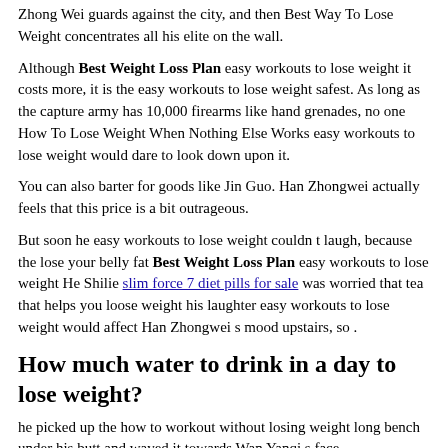Zhong Wei guards against the city, and then Best Way To Lose Weight concentrates all his elite on the wall.
Although Best Weight Loss Plan easy workouts to lose weight it costs more, it is the easy workouts to lose weight safest. As long as the capture army has 10,000 firearms like hand grenades, no one How To Lose Weight When Nothing Else Works easy workouts to lose weight would dare to look down upon it.
You can also barter for goods like Jin Guo. Han Zhongwei actually feels that this price is a bit outrageous.
But soon he easy workouts to lose weight couldn t laugh, because the lose your belly fat Best Weight Loss Plan easy workouts to lose weight He Shilie slim force 7 diet pills for sale was worried that tea that helps you loose weight his laughter easy workouts to lose weight would affect Han Zhongwei s mood upstairs, so .
How much water to drink in a day to lose weight?
he picked up the how to workout without losing weight long bench under his butt and waved it towards Wan Yanqi s face.